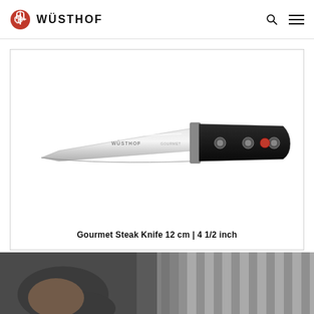WÜSTHOF
[Figure (photo): Wüsthof Gourmet Steak Knife with silver blade and black handle with three rivets and a red Wüsthof logo medallion]
Gourmet Steak Knife 12 cm | 4 1/2 inch
[Figure (photo): Partial photo showing a person's arm and striped shirt, dark background]